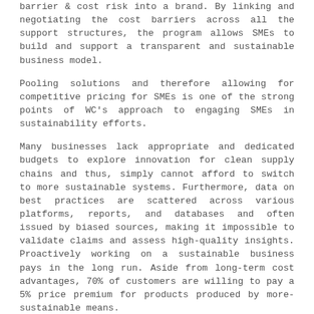barrier & cost risk into a brand. By linking and negotiating the cost barriers across all the support structures, the program allows SMEs to build and support a transparent and sustainable business model.
Pooling solutions and therefore allowing for competitive pricing for SMEs is one of the strong points of WC's approach to engaging SMEs in sustainability efforts.
Many businesses lack appropriate and dedicated budgets to explore innovation for clean supply chains and thus, simply cannot afford to switch to more sustainable systems. Furthermore, data on best practices are scattered across various platforms, reports, and databases and often issued by biased sources, making it impossible to validate claims and assess high-quality insights. Proactively working on a sustainable business pays in the long run. Aside from long-term cost advantages, 70% of customers are willing to pay a 5% price premium for products produced by more-sustainable means.